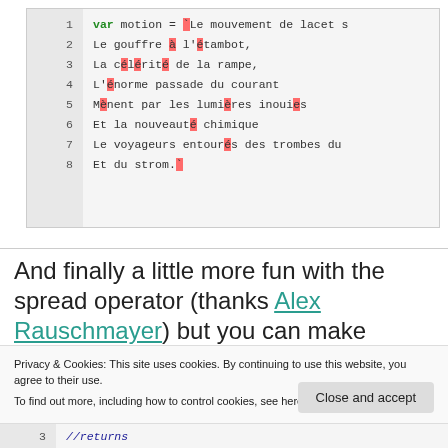[Figure (screenshot): Code editor screenshot showing 8 lines of JavaScript/text with line numbers, highlighted accented characters in red, and a var keyword in green.]
And finally a little more fun with the spread operator (thanks Alex Rauschmayer) but you can make
Privacy & Cookies: This site uses cookies. By continuing to use this website, you agree to their use.
To find out more, including how to control cookies, see here: Cookie Policy
Close and accept
3    //returns